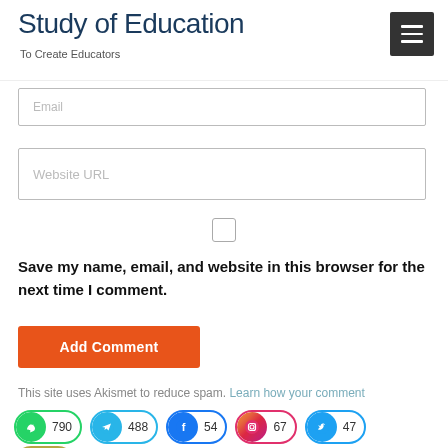Study of Education
To Create Educators
Email
Website URL
Save my name, email, and website in this browser for the next time I comment.
Add Comment
This site uses Akismet to reduce spam. Learn how your comment
[Figure (infographic): Social share buttons: WhatsApp 790, Telegram 488, Facebook 54, Instagram 67, Twitter 47, Email 52]